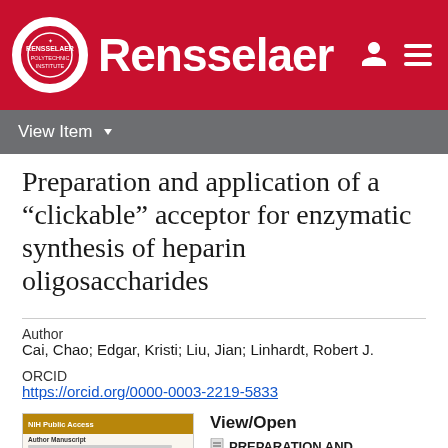Rensselaer
View Item
Preparation and application of a “clickable” acceptor for enzymatic synthesis of heparin oligosaccharides
Author
Cai, Chao; Edgar, Kristi; Liu, Jian; Linhardt, Robert J.
ORCID
https://orcid.org/0000-0003-2219-5833
[Figure (other): Thumbnail of NIH Public Access author manuscript document]
View/Open
PREPARATION AND